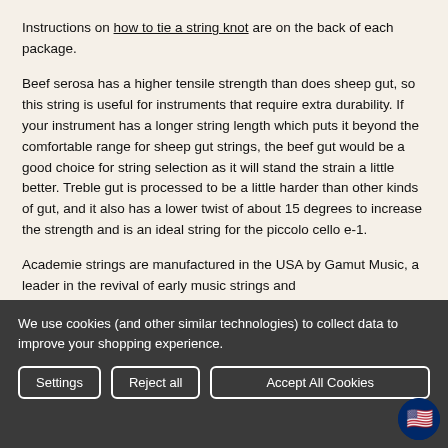Instructions on how to tie a string knot are on the back of each package.
Beef serosa has a higher tensile strength than does sheep gut, so this string is useful for instruments that require extra durability. If your instrument has a longer string length which puts it beyond the comfortable range for sheep gut strings, the beef gut would be a good choice for string selection as it will stand the strain a little better. Treble gut is processed to be a little harder than other kinds of gut, and it also has a lower twist of about 15 degrees to increase the strength and is an ideal string for the piccolo cello e-1.
Academie strings are manufactured in the USA by Gamut Music, a leader in the revival of early music strings and
We use cookies (and other similar technologies) to collect data to improve your shopping experience.